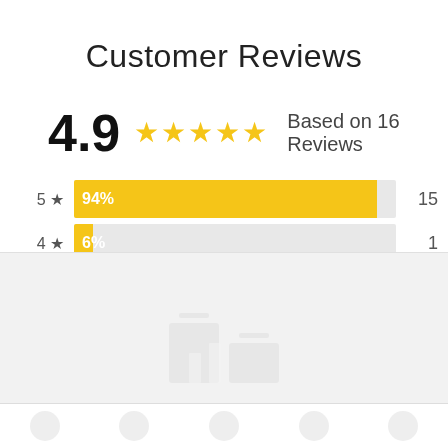Customer Reviews
4.9 ★★★★★ Based on 16 Reviews
[Figure (bar-chart): Rating distribution]